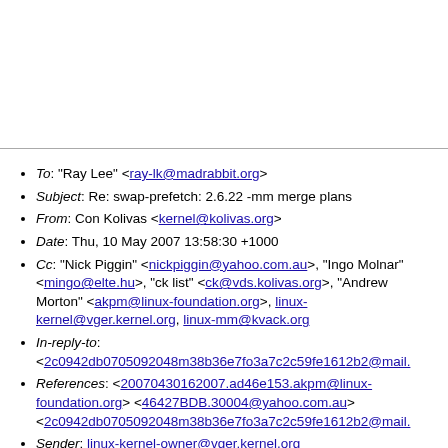To: "Ray Lee" <ray-lk@madrabbit.org>
Subject: Re: swap-prefetch: 2.6.22 -mm merge plans
From: Con Kolivas <kernel@kolivas.org>
Date: Thu, 10 May 2007 13:58:30 +1000
Cc: "Nick Piggin" <nickpiggin@yahoo.com.au>, "Ingo Molnar" <mingo@elte.hu>, "ck list" <ck@vds.kolivas.org>, "Andrew Morton" <akpm@linux-foundation.org>, linux-kernel@vger.kernel.org, linux-mm@kvack.org
In-reply-to: <2c0942db0705092048m38b36e7fo3a7c2c59fe1612b2@mail.
References: <20070430162007.ad46e153.akpm@linux-foundation.org> <46427BDB.30004@yahoo.com.au> <2c0942db0705092048m38b36e7fo3a7c2c59fe1612b2@mail.
Sender: linux-kernel-owner@vger.kernel.org
User-agent: KMail/1.9.5